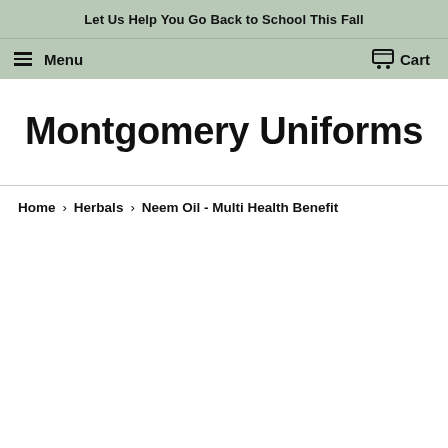Let Us Help You Go Back to School This Fall
Menu   Cart
Montgomery Uniforms
Home › Herbals › Neem Oil - Multi Health Benefit